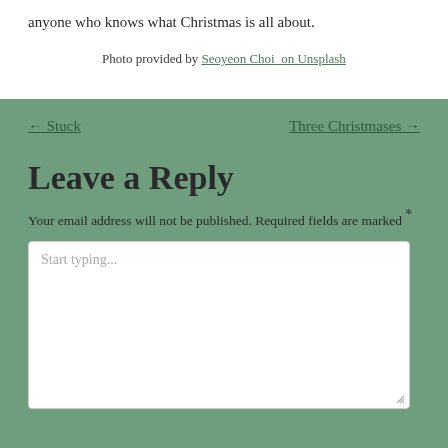anyone who knows what Christmas is all about.
Photo provided by Seoyeon Choi  on Unsplash
← Stuck
Three Christmases →
Leave a Reply
Your email address will not be published. Required fields are marked *
Start typing...